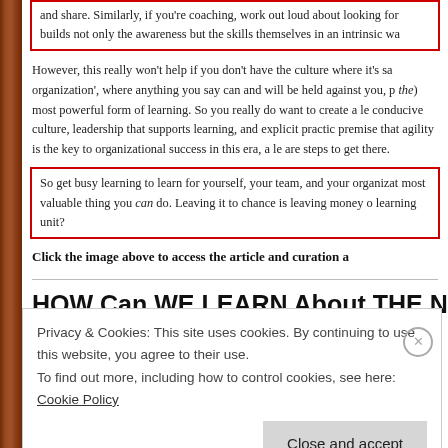and share. Similarly, if you're coaching, work out loud about looking for builds not only the awareness but the skills themselves in an intrinsic wa
However, this really won't help if you don't have the culture where it's safe organization', where anything you say can and will be held against you, p the) most powerful form of learning. So you really do want to create a lea conducive culture, leadership that supports learning, and explicit practice premise that agility is the key to organizational success in this era, a lea are steps to get there.
So get busy learning to learn for yourself, your team, and your organizatio most valuable thing you can do. Leaving it to chance is leaving money on learning unit?
Click the image above to access the article and curation a
HOW Can WE LEARN About THE NEW Pe
Privacy & Cookies: This site uses cookies. By continuing to use this website, you agree to their use.
To find out more, including how to control cookies, see here: Cookie Policy
Close and accept